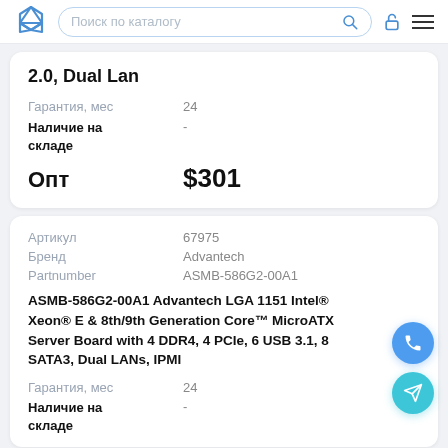Поиск по каталогу
2.0, Dual Lan
| Гарантия, мес | 24 |
| Наличие на складе | - |
| Опт | $301 |
| Артикул | 67975 |
| Бренд | Advantech |
| Partnumber | ASMB-586G2-00A1 |
ASMB-586G2-00A1 Advantech LGA 1151 Intel® Xeon® E & 8th/9th Generation Core™ MicroATX Server Board with 4 DDR4, 4 PCIe, 6 USB 3.1, 8 SATA3, Dual LANs, IPMI
| Гарантия, мес | 24 |
| Наличие на складе | - |